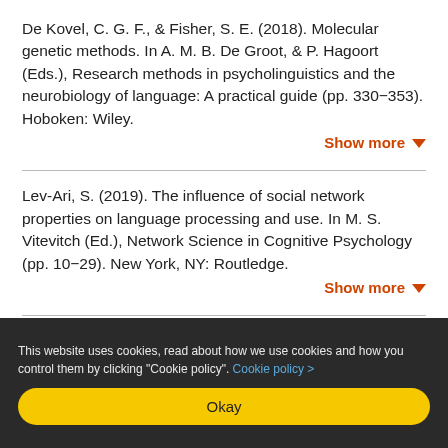De Kovel, C. G. F., & Fisher, S. E. (2018). Molecular genetic methods. In A. M. B. De Groot, & P. Hagoort (Eds.), Research methods in psycholinguistics and the neurobiology of language: A practical guide (pp. 330–353). Hoboken: Wiley.
Show more
Lev-Ari, S. (2019). The influence of social network properties on language processing and use. In M. S. Vitevitch (Ed.), Network Science in Cognitive Psychology (pp. 10–29). New York, NY: Routledge.
Show more
This website uses cookies, read about how we use cookies and how you control them by clicking "Cookie policy". Cookie policy >